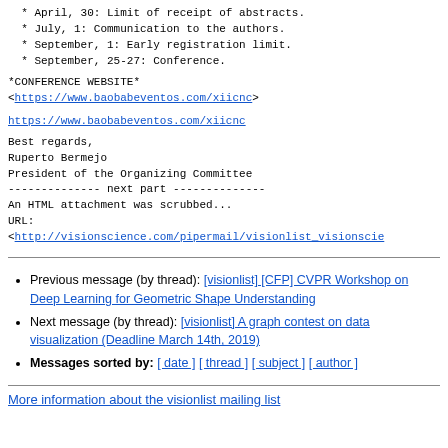* April, 30: Limit of receipt of abstracts.
* July, 1: Communication to the authors.
* September, 1: Early registration limit.
* September, 25-27: Conference.
*CONFERENCE WEBSITE*
<https://www.baobabeventos.com/xiicnc>
https://www.baobabeventos.com/xiicnc
Best regards,
Ruperto Bermejo
President of the Organizing Committee
-------------- next part --------------
An HTML attachment was scrubbed...
URL:
<http://visionscience.com/pipermail/visionlist_visionscie
Previous message (by thread): [visionlist] [CFP] CVPR Workshop on Deep Learning for Geometric Shape Understanding
Next message (by thread): [visionlist] A graph contest on data visualization (Deadline March 14th, 2019)
Messages sorted by: [ date ] [ thread ] [ subject ] [ author ]
More information about the visionlist mailing list